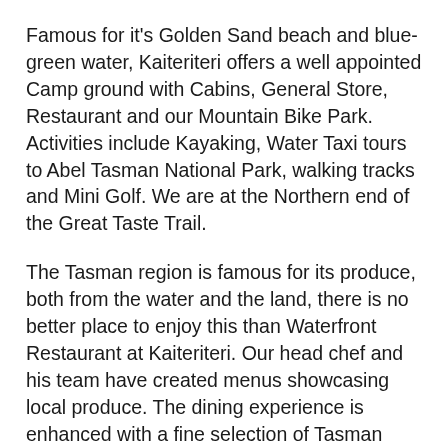Famous for it's Golden Sand beach and blue-green water, Kaiteriteri offers a well appointed Camp ground with Cabins, General Store, Restaurant and our Mountain Bike Park. Activities include Kayaking, Water Taxi tours to Abel Tasman National Park, walking tracks and Mini Golf. We are at the Northern end of the Great Taste Trail.
The Tasman region is famous for its produce, both from the water and the land, there is no better place to enjoy this than Waterfront Restaurant at Kaiteriteri. Our head chef and his team have created menus showcasing local produce. The dining experience is enhanced with a fine selection of Tasman wines and craft beers. Based at the world renowned Kaiteriteri Beach, we are delighted to offer exceptional dining in a relaxed coastal environment.